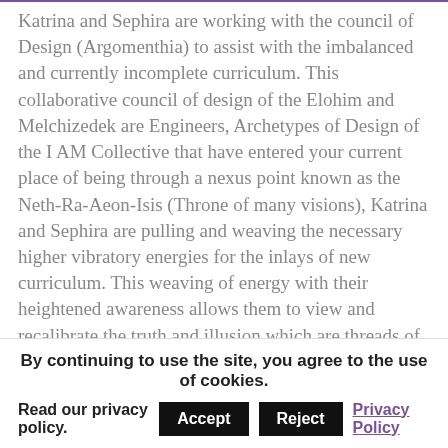Katrina and Sephira are working with the council of Design (Argomenthia) to assist with the imbalanced and currently incomplete curriculum. This collaborative council of design of the Elohim and Melchizedek are Engineers, Archetypes of Design of the I AM Collective that have entered your current place of being through a nexus point known as the Neth-Ra-Aeon-Isis (Throne of many visions), Katrina and Sephira are pulling and weaving the necessary higher vibratory energies for the inlays of new curriculum. This weaving of energy with their heightened awareness allows them to view and recalibrate the truth and illusion which are threads of this paradigm. Part of this mission is to equip already activated light workers with upgraded light codes, DNA, templates, and overlays. They use sacred intonement to activate visions and they are the central hub of supportive energy to bring these
By continuing to use the site, you agree to the use of cookies.
Read our privacy policy. Accept Reject Privacy Policy